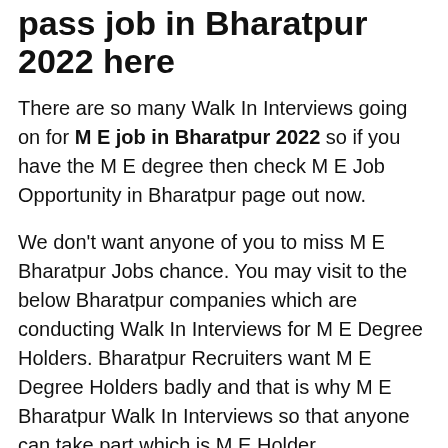pass job in Bharatpur 2022 here
There are so many Walk In Interviews going on for M E job in Bharatpur 2022 so if you have the M E degree then check M E Job Opportunity in Bharatpur page out now.
We don't want anyone of you to miss M E Bharatpur Jobs chance. You may visit to the below Bharatpur companies which are conducting Walk In Interviews for M E Degree Holders. Bharatpur Recruiters want M E Degree Holders badly and that is why M E Bharatpur Walk In Interviews so that anyone can take part which is M E Holder.
If you are looking for M E Jobs in Bharatpur 2022 then must visit on below Bharatpur companies.